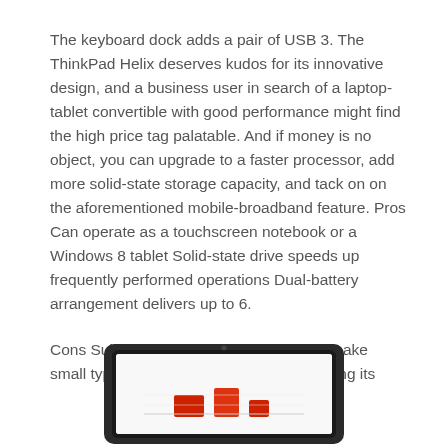The keyboard dock adds a pair of USB 3. The ThinkPad Helix deserves kudos for its innovative design, and a business user in search of a laptop-tablet convertible with good performance might find the high price tag palatable. And if money is no object, you can upgrade to a faster processor, add more solid-state storage capacity, and tack on on the aforementioned mobile-broadband feature. Pros Can operate as a touchscreen notebook or a Windows 8 tablet Solid-state drive speeds up frequently performed operations Dual-battery arrangement delivers up to 6.
Cons Subpar audio High-res screen can make small type difficult to read Pricey considering its
[Figure (photo): Bottom portion of a tablet device showing screen with red elements visible]